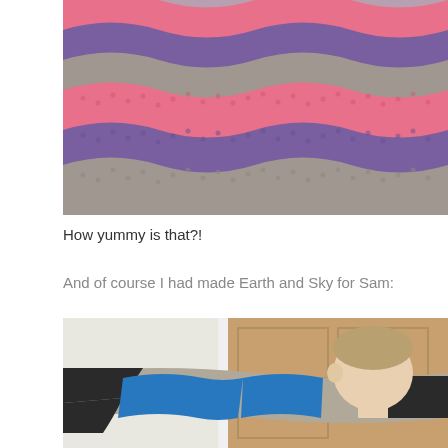[Figure (photo): Close-up photo of a colorful crocheted blanket with wavy stripes in pink/coral, purple, and gray colors]
How yummy is that?!
And of course I had made Earth and Sky for Sam:
[Figure (photo): Photo of a child holding up a crocheted blanket in gray, black, and blue/teal colors, with a wooden door visible in the background]